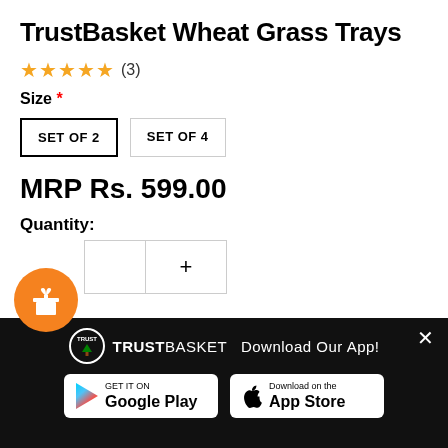TrustBasket Wheat Grass Trays
★★★★★ (3)
Size *
SET OF 2 | SET OF 4
MRP Rs. 599.00
Quantity:
[Figure (logo): TrustBasket logo with circular green tree emblem and text TRUSTBASKET Download Our App!]
[Figure (screenshot): Google Play Store download button]
[Figure (screenshot): Apple App Store download button]